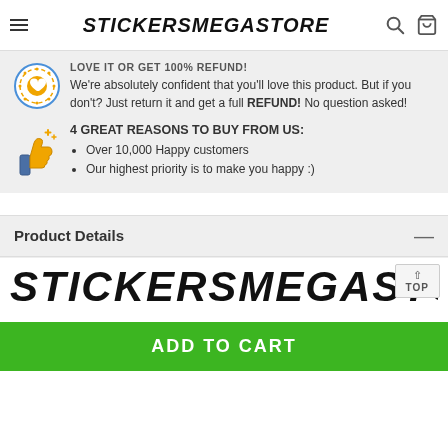STICKERSMEGASTORE
LOVE IT OR GET 100% REFUND!
We're absolutely confident that you'll love this product. But if you don't? Just return it and get a full REFUND! No question asked!
4 GREAT REASONS TO BUY FROM US:
Over 10,000 Happy customers
Our highest priority is to make you happy :)
Product Details
[Figure (logo): STICKERSMEGASTORE logo in bold italic font at bottom of page]
ADD TO CART